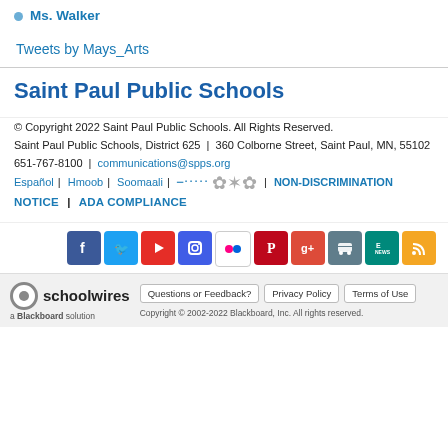Ms. Walker
Tweets by Mays_Arts
Saint Paul Public Schools
© Copyright 2022 Saint Paul Public Schools. All Rights Reserved.
Saint Paul Public Schools, District 625 | 360 Colborne Street, Saint Paul, MN, 55102
651-767-8100 | communications@spps.org
Español | Hmoob | Soomaali | [Somali script] | NON-DISCRIMINATION
NOTICE | ADA COMPLIANCE
[Figure (infographic): Row of social media icons: Facebook, Twitter, YouTube, Instagram, Flickr, Pinterest, Google+, Bus/School, E-News, RSS]
schoolwires a Blackboard solution
Questions or Feedback? | Privacy Policy | Terms of Use
Copyright © 2002-2022 Blackboard, Inc. All rights reserved.